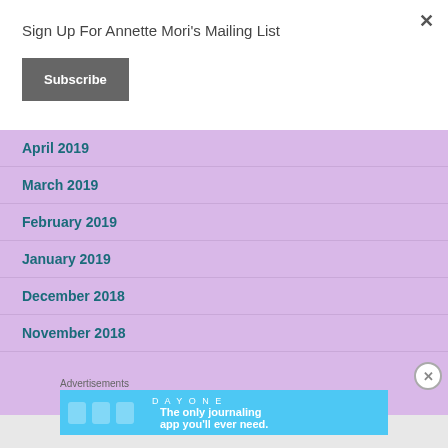Sign Up For Annette Mori's Mailing List
Subscribe
April 2019
March 2019
February 2019
January 2019
December 2018
November 2018
Advertisements
[Figure (screenshot): Day One journaling app advertisement banner with text: The only journaling app you'll ever need.]